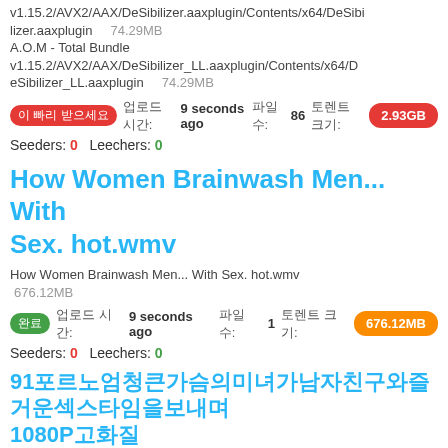v1.15.2/AVX2/AAX/DeSibilizer.aaxplugin/Contents/x64/DeSibilizer.aaxplugin    74.29MB
A.O.M - Total Bundle v1.15.2/AVX2/AAX/DeSibilizer_LL.aaxplugin/Contents/x64/DeSibilizer_LL.aaxplugin    74.29MB
[빨리 받으세요] 업로드 시간: 9 seconds ago  파일 수: 86  토렌트 크기: 2.93GB  Seeders: 0  Leechers: 0
How Women Brainwash Men... With Sex. hot.wmv
How Women Brainwash Men... With Sex. hot.wmv   676.12MB
[완료] 업로드 시간: 9 seconds ago  파일 수: 1  토렌트 크기: 676.12MB  Seeders: 0  Leechers: 0
91포르노엄청큰가슴의미녀가남자친구와즐거운섹스타임을보내며1080P고화질
91포르노엄청큰가슴의미녀가남자친구와즐거운섹스타임을보내며1080P고화질.mp4    604.28MB